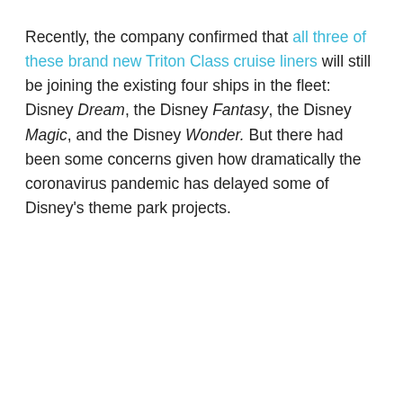Recently, the company confirmed that all three of these brand new Triton Class cruise liners will still be joining the existing four ships in the fleet: Disney Dream, the Disney Fantasy, the Disney Magic, and the Disney Wonder. But there had been some concerns given how dramatically the coronavirus pandemic has delayed some of Disney's theme park projects.